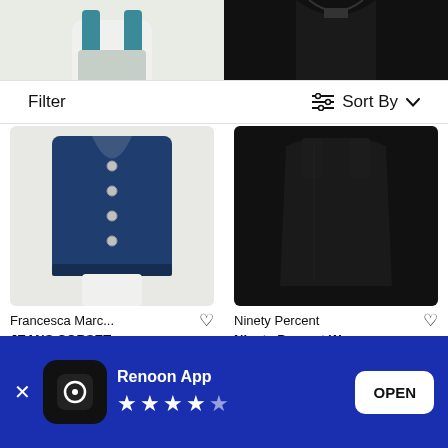[Figure (photo): Top portion of a garment on mannequin - teal straps visible, cropped]
[Figure (photo): Top portion of a black top/garment on mannequin, cropped]
Filter
Sort By
[Figure (photo): Denim vest/corset displayed on a white mannequin, dark blue denim with silver buttons]
[Figure (photo): Black sleeveless tank/tube top displayed on dark background]
Francesca Marc... ♡
JEANS CORSET
290€
Made-In-Europe
Upcyc
Ninety Percent ♡
Ninety Percent Wom...
55€
Organic
[Figure (screenshot): App download banner for Renoon App with 4.5 star rating and OPEN button on blue background]